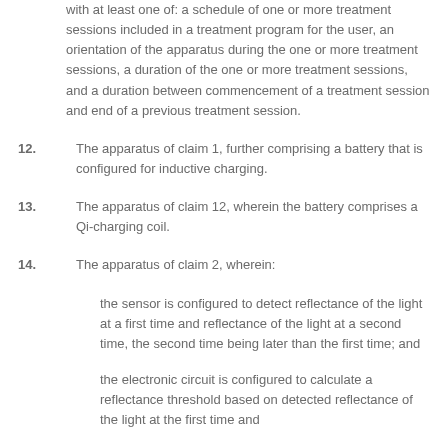with at least one of: a schedule of one or more treatment sessions included in a treatment program for the user, an orientation of the apparatus during the one or more treatment sessions, a duration of the one or more treatment sessions, and a duration between commencement of a treatment session and end of a previous treatment session.
12. The apparatus of claim 1, further comprising a battery that is configured for inductive charging.
13. The apparatus of claim 12, wherein the battery comprises a Qi-charging coil.
14. The apparatus of claim 2, wherein:
the sensor is configured to detect reflectance of the light at a first time and reflectance of the light at a second time, the second time being later than the first time; and
the electronic circuit is configured to calculate a reflectance threshold based on detected reflectance of the light at the first time and